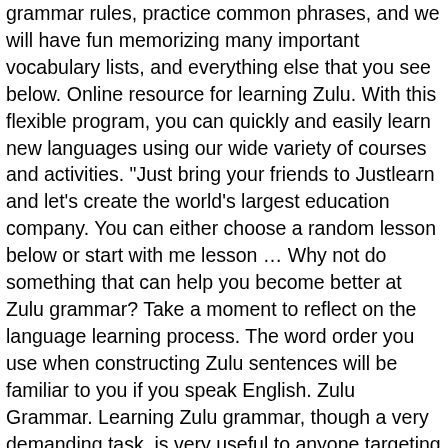grammar rules, practice common phrases, and we will have fun memorizing many important vocabulary lists, and everything else that you see below. Online resource for learning Zulu. With this flexible program, you can quickly and easily learn new languages using our wide variety of courses and activities. "Just bring your friends to Justlearn and let's create the world's largest education company. You can either choose a random lesson below or start with me lesson … Why not do something that can help you become better at Zulu grammar? Take a moment to reflect on the language learning process. The word order you use when constructing Zulu sentences will be familiar to you if you speak English. Zulu Grammar. Learning Zulu grammar, though a very demanding task, is very useful to anyone targeting at achieving fluency in Zulu. Traditional schools pay no attention to students' needs, and they teach everyone in the same way. it was worn for special occasions but with the african fashion trending this hat can we worn for casual and formal events. Also don't forget to